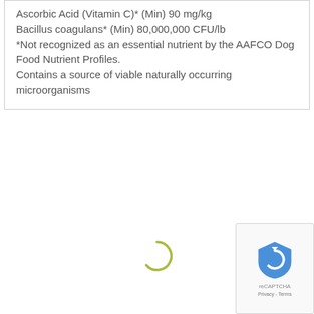Ascorbic Acid (Vitamin C)* (Min) 90 mg/kg Bacillus coagulans* (Min) 80,000,000 CFU/lb *Not recognized as an essential nutrient by the AAFCO Dog Food Nutrient Profiles. Contains a source of viable naturally occurring microorganisms
[Figure (other): Loading spinner - a partial circle arc in olive/yellow-green color indicating content is loading]
[Figure (other): reCAPTCHA badge with logo and Privacy - Terms text at bottom right corner]